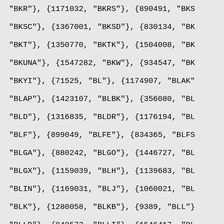"BKR"}, {1171032, "BKRS"}, {890491, "BKS
"BKSC"}, {1367001, "BKSD"}, {830134, "BK
"BKT"}, {1350770, "BKTK"}, {1504008, "BK
"BKUNA"}, {1547282, "BKW"}, {934547, "BK
"BKYI"}, {71525, "BL"}, {1174907, "BLAK"
"BLAP"}, {1423107, "BLBK"}, {356080, "BL
"BLD"}, {1316835, "BLDR"}, {1176194, "BL
"BLF"}, {899049, "BLFE"}, {834365, "BLFS
"BLGA"}, {880242, "BLGO"}, {1446727, "BL
"BLGX"}, {1159039, "BLH"}, {1139683, "BL
"BLIN"}, {1169031, "BLJ"}, {1060021, "BL
"BLK"}, {1280058, "BLKB"}, {9389, "BLL"}
"BLLD"}, {840573, "BLLI"}, {1546417, "BL
"BLMT"}, {1522420, "BLMT"}, {890519, "BL
"BLNM"}, {1175685, "BLOG"}, {1223862, "B
"BLQN"}, {12779, "BLRGZ"}, {1168458, "BL